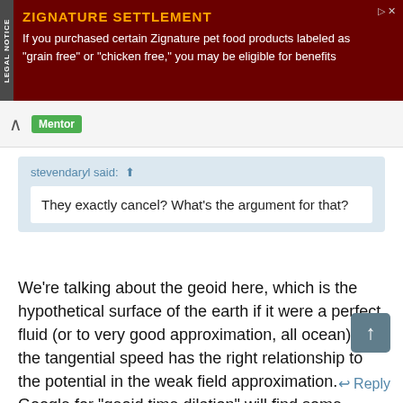[Figure (other): Advertisement banner for Zignature Settlement legal notice. Dark red background with LEGAL NOTICE tab on left side. Orange title 'ZIGNATURE SETTLEMENT' and white body text: 'If you purchased certain Zignature pet food products labeled as "grain free" or "chicken free," you may be eligible for benefits']
stevendarâ¬yl said: ↑
They exactly cancel? What's the argument for that?
We're talking about the geoid here, which is the hypothetical surface of the earth if it were a perfect fluid (or to very good approximation, all ocean) so the tangential speed has the right relationship to the potential in the weak field approximation. Google for "geoid time dilation" will find some derivations.